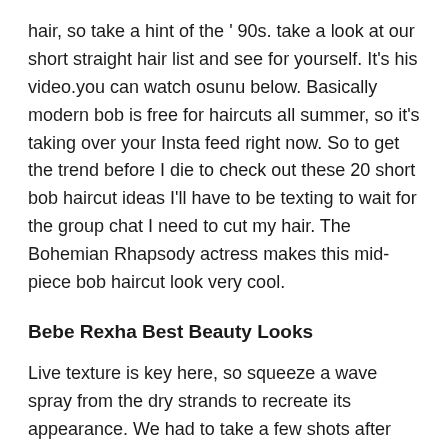hair, so take a hint of the ' 90s. take a look at our short straight hair list and see for yourself. It's his video.you can watch osunu below. Basically modern bob is free for haircuts all summer, so it's taking over your Insta feed right now. So to get the trend before I die to check out these 20 short bob haircut ideas I'll have to be texting to wait for the group chat I need to cut my hair. The Bohemian Rhapsody actress makes this mid-piece bob haircut look very cool.
Bebe Rexha Best Beauty Looks
Live texture is key here, so squeeze a wave spray from the dry strands to recreate its appearance. We had to take a few shots after seeing Bebe Rexha's last hair look. Singer-songwriter Selena Gomez's latest appearance is Jennifer Aniston's greatest pop culture hair moment of all time-a Rachel Green haircut from friends. During the rare singer's last appearance on the Kelly Clarkson Show Gomez debuted